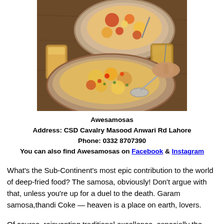[Figure (photo): Overhead view of food bowls with samosas and other dishes, with two glasses of chai/drink on a wooden table surface. A hand is visible holding a spoon in one of the bowls.]
Awesamosas
Address: CSD Cavalry Masood Anwari Rd Lahore
Phone: 0332 8707390
You can also find Awesamosas on Facebook & Instagram
What’s the Sub-Continent’s most epic contribution to the world of deep-fried food? The samosa, obviously! Don’t argue with that, unless you’re up for a duel to the death. Garam samosa,thandi Coke — heaven is a place on earth, lovers.
Of course, reinventing traditional excellence, especially the